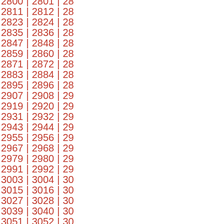2811 | 2812 | 28... 2823 | 2824 | 28... 2835 | 2836 | 28... 2847 | 2848 | 28... 2859 | 2860 | 28... 2871 | 2872 | 28... 2883 | 2884 | 28... 2895 | 2896 | 28... 2907 | 2908 | 29... 2919 | 2920 | 29... 2931 | 2932 | 29... 2943 | 2944 | 29... 2955 | 2956 | 29... 2967 | 2968 | 29... 2979 | 2980 | 29... 2991 | 2992 | 29... 3003 | 3004 | 30... 3015 | 3016 | 30... 3027 | 3028 | 30... 3039 | 3040 | 30... 3051 | 3052 | 30...